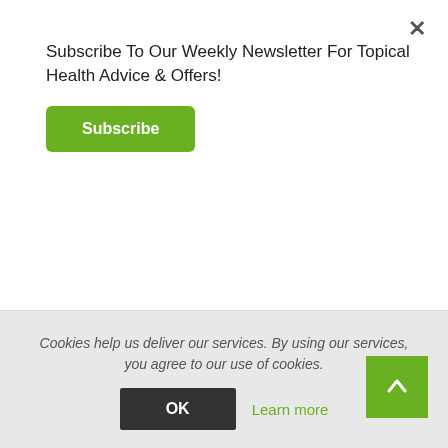Subscribe To Our Weekly Newsletter For Topical Health Advice & Offers!
Subscribe
[Figure (photo): Product packaging for ÉNOCÉRIDE showing a green arc logo at top, product name ÉNOCÉRIDE in bold gray letters, subtitle PROTECTION CELLULAIRE¹, PEAU² and ingredients [Vitamines C et E, Zinc, Manganèse, Sélénium]]
Cookies help us deliver our services. By using our services, you agree to our use of cookies.
OK
Learn more